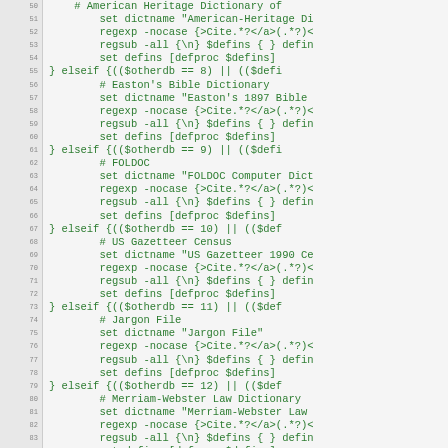Code listing showing Tcl/dictionary configuration with elseif blocks for American Heritage Dictionary, Easton's Bible Dictionary, FOLDOC, US Gazetteer Census, Jargon File, Merriam-Webster Law Dictionary, and Webster New Millenium Dictionary entries.